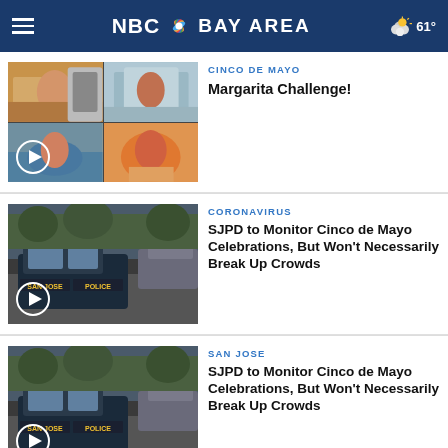NBC Bay Area — 61°
[Figure (screenshot): Video thumbnail collage of four people in kitchen/outdoor settings for Margarita Challenge segment with play button overlay]
CINCO DE MAYO
Margarita Challenge!
[Figure (screenshot): Video thumbnail of San Jose Police car in parking lot with play button overlay]
CORONAVIRUS
SJPD to Monitor Cinco de Mayo Celebrations, But Won't Necessarily Break Up Crowds
[Figure (screenshot): Video thumbnail of San Jose Police car in parking lot with play button overlay]
SAN JOSE
SJPD to Monitor Cinco de Mayo Celebrations, But Won't Necessarily Break Up Crowds